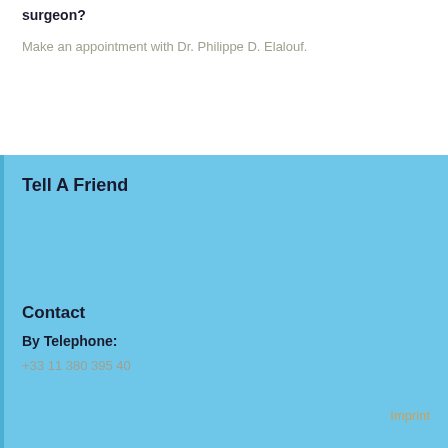surgeon?
Make an appointment with Dr. Philippe D. Elalouf.
Tell A Friend
Contact
By Telephone:
+33 11 380 395 40
Imprint